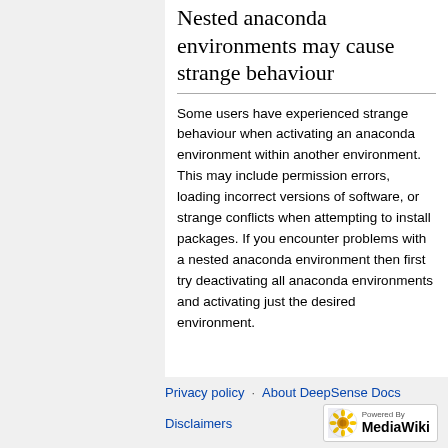Nested anaconda environments may cause strange behaviour
Some users have experienced strange behaviour when activating an anaconda environment within another environment. This may include permission errors, loading incorrect versions of software, or strange conflicts when attempting to install packages. If you encounter problems with a nested anaconda environment then first try deactivating all anaconda environments and activating just the desired environment.
Privacy policy · About DeepSense Docs · Disclaimers · Powered by MediaWiki